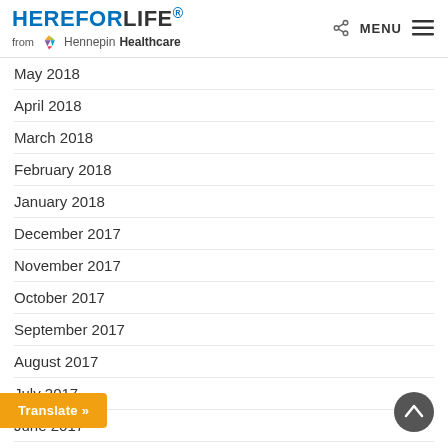HEREFORLIFE from HennepinHealthcare – MENU
May 2018
April 2018
March 2018
February 2018
January 2018
December 2017
November 2017
October 2017
September 2017
August 2017
July 2017
June 2017
May 2017
April 2017
M…
Translate »